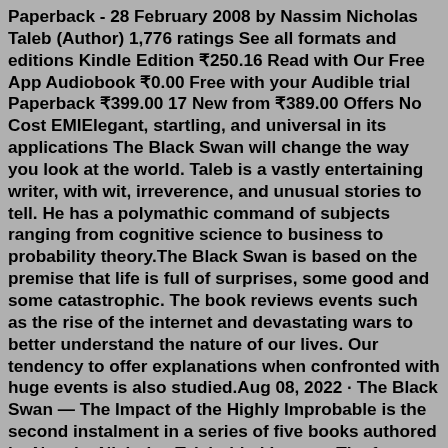Paperback - 28 February 2008 by Nassim Nicholas Taleb (Author) 1,776 ratings See all formats and editions Kindle Edition ₹250.16 Read with Our Free App Audiobook ₹0.00 Free with your Audible trial Paperback ₹399.00 17 New from ₹389.00 Offers No Cost EMIElegant, startling, and universal in its applications The Black Swan will change the way you look at the world. Taleb is a vastly entertaining writer, with wit, irreverence, and unusual stories to tell. He has a polymathic command of subjects ranging from cognitive science to business to probability theory.The Black Swan is based on the premise that life is full of surprises, some good and some catastrophic. The book reviews events such as the rise of the internet and devastating wars to better understand the nature of our lives. Our tendency to offer explanations when confronted with huge events is also studied.Aug 08, 2022 · The Black Swan — The Impact of the Highly Improbable is the second instalment in a series of five books authored by Nassim Nicholas Taleb titled Incerto. The format the books are. Each book...